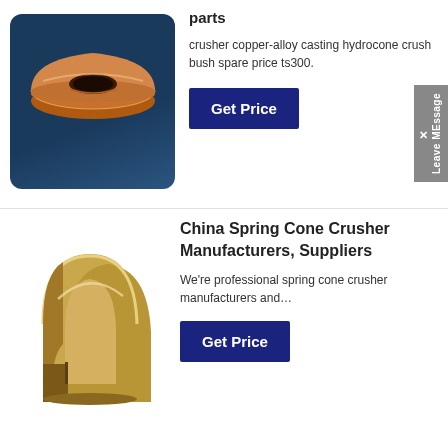[Figure (photo): Copper-colored ring/bowl shaped crusher part on dark blue background]
parts
crusher copper-alloy casting hydrocone crush bush spare price ts300.
[Figure (photo): Gold/brass colored spring cone crusher part - arch shaped metal casting on white background]
China Spring Cone Crusher Manufacturers, Suppliers
We're professional spring cone crusher manufacturers and…